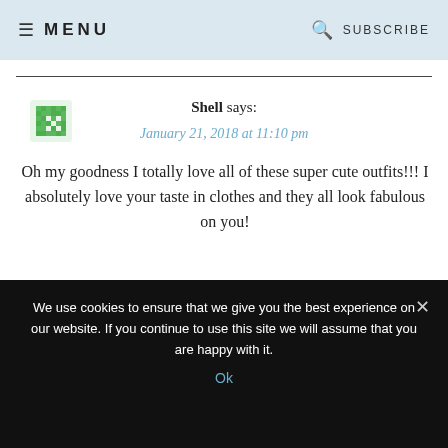≡ MENU   🔍 SUBSCRIBE
Shell says:
January 21, 2018 at 11:10 pm
Oh my goodness I totally love all of these super cute outfits!!! I absolutely love your taste in clothes and they all look fabulous on you!
Reply
We use cookies to ensure that we give you the best experience on our website. If you continue to use this site we will assume that you are happy with it.
Ok